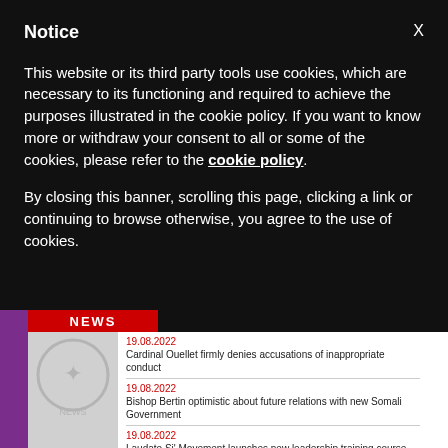Notice
This website or its third party tools use cookies, which are necessary to its functioning and required to achieve the purposes illustrated in the cookie policy. If you want to know more or withdraw your consent to all or some of the cookies, please refer to the cookie policy.
By closing this banner, scrolling this page, clicking a link or continuing to browse otherwise, you agree to the use of cookies.
[Figure (screenshot): News website banner showing logo area and three news items with red dates '19.08.2022' and headlines about Cardinal Ouellet, Bishop Bertin, and Laudato Si' Movement]
19.08.2022 - Cardinal Ouellet firmly denies accusations of inappropriate conduct
19.08.2022 - Bishop Bertin optimistic about future relations with new Somali Government
19.08.2022 - Laudato Si' Movement launches new leadership training course